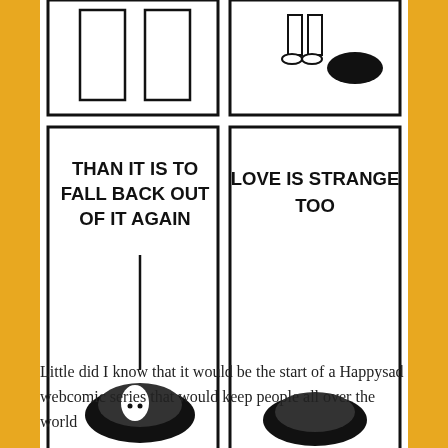[Figure (illustration): A webcomic by Jeroen (kartoen.be) showing two bottom comic panels. Left panel has handwritten text 'THAN IT IS TO FALL BACK OUT OF IT AGAIN' with a small figure falling into a black oval hole. Right panel has handwritten text 'LOVE IS STRANGE TOO' with a black oval. Below the panels: '©jeroen · www.kartoen.be' on the left and 'JEROEN' signature on the right.]
— Live love learn
Little did I know that it would be the start of a Happysad webcomic series that would keep people all over the world